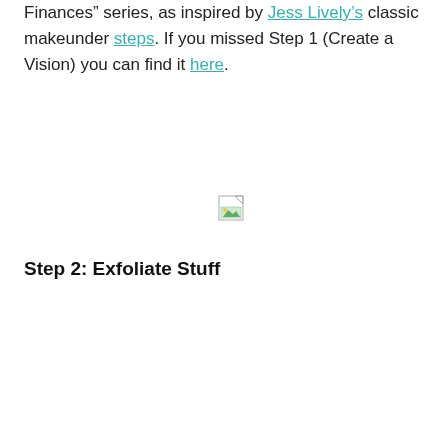This week is Step 2 of the full series "Makeunder My Finances" series, as inspired by Jess Lively's classic makeunder steps. If you missed Step 1 (Create a Vision) you can find it here.
[Figure (other): Broken image placeholder icon (small image with torn corner)]
Step 2: Exfoliate Stuff